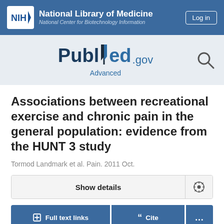[Figure (logo): NIH National Library of Medicine - National Center for Biotechnology Information header with Log in button]
[Figure (logo): PubMed.gov logo with Advanced search link and search icon]
Associations between recreational exercise and chronic pain in the general population: evidence from the HUNT 3 study
Tormod Landmark et al. Pain. 2011 Oct.
Show details
Full text links  Cite  ...